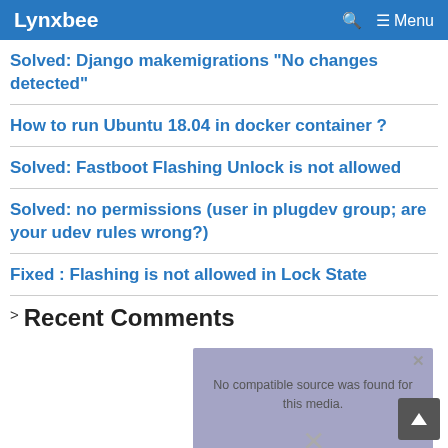Lynxbee   🔍  ☰ Menu
Solved: Django makemigrations "No changes detected"
How to run Ubuntu 18.04 in docker container ?
Solved: Fastboot Flashing Unlock is not allowed
Solved: no permissions (user in plugdev group; are your udev rules wrong?)
[Figure (screenshot): Video player overlay with message 'No compatible source was found for this media.' and a close X button, semi-transparent purple background showing 'Wireless debugging', 'Run Android Project', 'Without USB' text]
Fixed : Flashing is not allowed in Lock State
Recent Comments